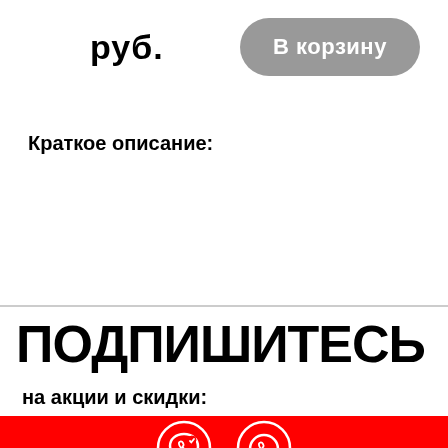руб.
[Figure (other): Grey rounded button with white text 'В корзину']
Краткое описание:
ПОДПИШИТЕСЬ
на акции и скидки:
[Figure (other): Red bar with Viber and WhatsApp icons]